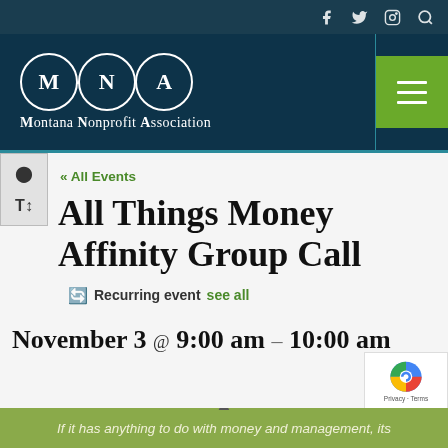Montana Nonprofit Association — Site header with navigation icons and hamburger menu
« All Events
All Things Money Affinity Group Call
Recurring event see all
November 3 @ 9:00 am – 10:00 am
If it has anything to do with money and management, its